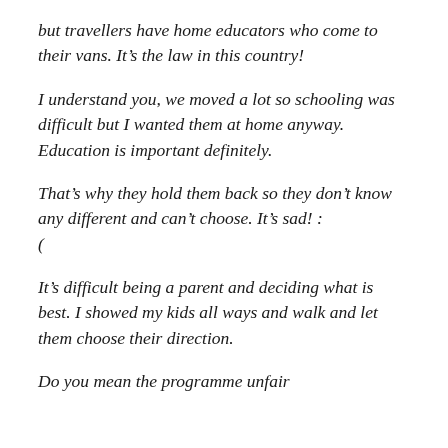but travellers have home educators who come to their vans.  It’s the law in this country!
I understand you, we moved a lot so schooling was difficult but I wanted them at home anyway.  Education is important definitely.
That’s why they hold them back so they don’t know any different and can’t choose.  It’s sad! :(
It’s difficult being a parent and deciding what is best.  I showed my kids all ways and walk and let them choose their direction.
Do you mean the programme unfair